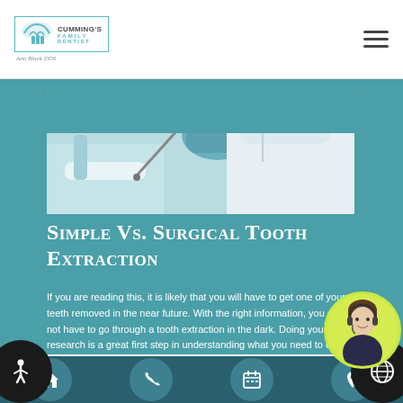Cumming's Family Dentist — Ann Black DDS
[Figure (photo): Dental professional in blue gloves performing a dental procedure, patient visible in chair]
Simple Vs. Surgical Tooth Extraction
If you are reading this, it is likely that you will have to get one of your teeth removed in the near future. With the right information, you do not have to go through a tooth extraction in the dark. Doing your research is a great first step in understanding what you need to do…
[Figure (photo): Customer service agent woman with headset — chat support]